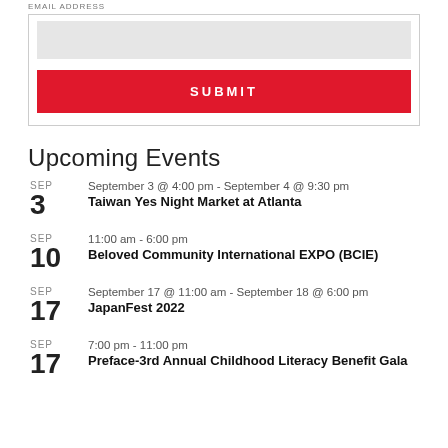EMAIL ADDRESS
SUBMIT
Upcoming Events
SEP 3 | September 3 @ 4:00 pm - September 4 @ 9:30 pm | Taiwan Yes Night Market at Atlanta
SEP 10 | 11:00 am - 6:00 pm | Beloved Community International EXPO (BCIE)
SEP 17 | September 17 @ 11:00 am - September 18 @ 6:00 pm | JapanFest 2022
SEP 17 | 7:00 pm - 11:00 pm | Preface-3rd Annual Childhood Literacy Benefit Gala